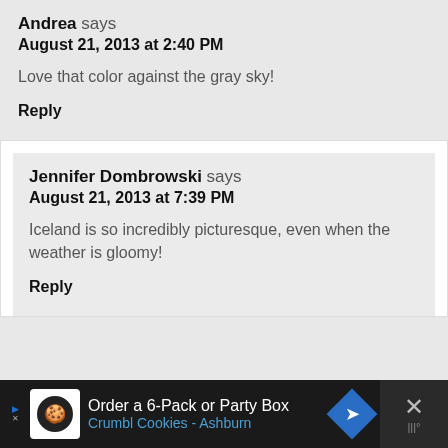Andrea says
August 21, 2013 at 2:40 PM
Love that color against the gray sky!
Reply
Jennifer Dombrowski says
August 21, 2013 at 7:39 PM
Iceland is so incredibly picturesque, even when the weather is gloomy!
Reply
[Figure (other): Advertisement banner: Order a 6-Pack or Party Box - Crumbl Cookies - Ashburn]